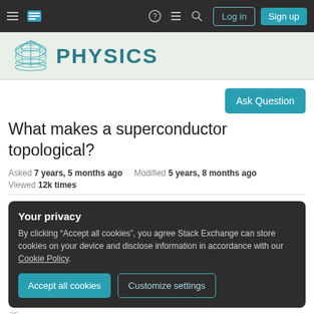Stack Exchange Physics — navigation bar with Log in and Sign up buttons
[Figure (screenshot): Physics Stack Exchange banner with cone/torus logo and PHYSICS text]
Ask Question
What makes a superconductor topological?
Asked 7 years, 5 months ago   Modified 5 years, 8 months ago
Viewed 12k times
Your privacy
By clicking "Accept all cookies", you agree Stack Exchange can store cookies on your device and disclose information in accordance with our Cookie Policy.
Accept all cookies   Customize settings
36